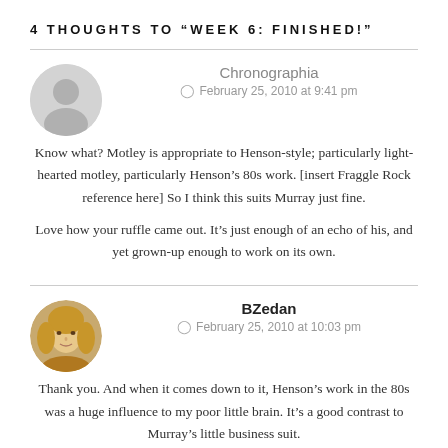4 THOUGHTS TO “WEEK 6: FINISHED!”
Chronographia
February 25, 2010 at 9:41 pm
Know what? Motley is appropriate to Henson-style; particularly light-hearted motley, particularly Henson’s 80s work. [insert Fraggle Rock reference here] So I think this suits Murray just fine.

Love how your ruffle came out. It’s just enough of an echo of his, and yet grown-up enough to work on its own.
BZedan
February 25, 2010 at 10:03 pm
Thank you. And when it comes down to it, Henson’s work in the 80s was a huge influence to my poor little brain. It’s a good contrast to Murray’s little business suit.